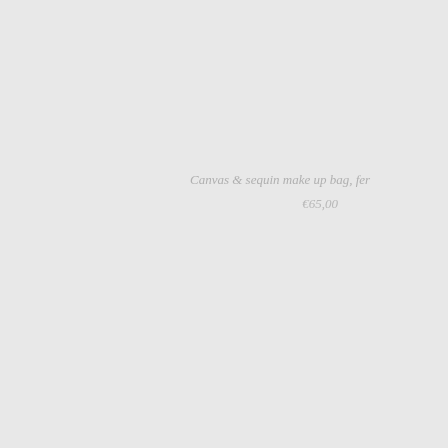Canvas & sequin make up bag, fer
€65,00